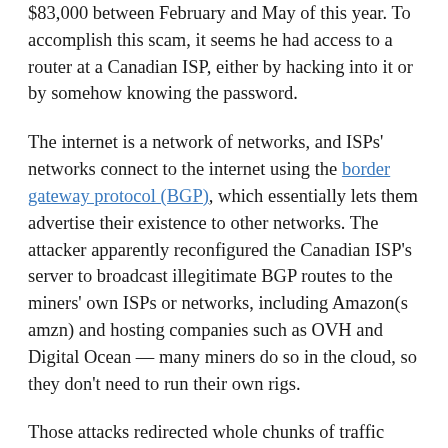$83,000 between February and May of this year. To accomplish this scam, it seems he had access to a router at a Canadian ISP, either by hacking into it or by somehow knowing the password.
The internet is a network of networks, and ISPs' networks connect to the internet using the border gateway protocol (BGP), which essentially lets them advertise their existence to other networks. The attacker apparently reconfigured the Canadian ISP's server to broadcast illegitimate BGP routes to the miners' own ISPs or networks, including Amazon(s amzn) and hosting companies such as OVH and Digital Ocean — many miners do so in the cloud, so they don't need to run their own rigs.
Those attacks redirected whole chunks of traffic from the affected networks, so when the miners attempted to hook up with their mining pools, they unwittingly...